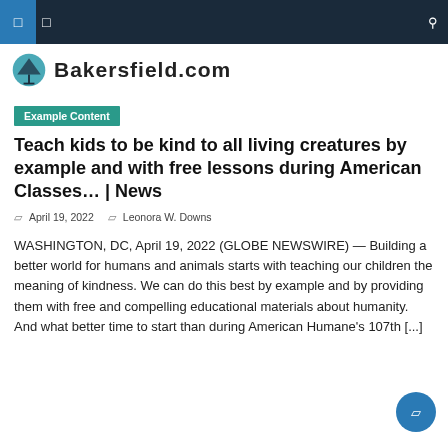Bakersfield.com
Example Content
Teach kids to be kind to all living creatures by example and with free lessons during American Classes… | News
April 19, 2022   Leonora W. Downs
WASHINGTON, DC, April 19, 2022 (GLOBE NEWSWIRE) — Building a better world for humans and animals starts with teaching our children the meaning of kindness. We can do this best by example and by providing them with free and compelling educational materials about humanity. And what better time to start than during American Humane's 107th [...]